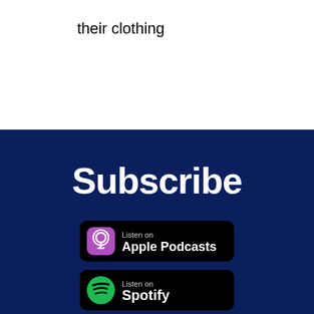their clothing
[Figure (infographic): Dark navy blue subscription call-to-action section with 'Subscribe' heading and two podcast badges: Apple Podcasts and Spotify]
Subscribe
[Figure (logo): Listen on Apple Podcasts badge - black rounded rectangle with purple podcast icon and white text]
[Figure (logo): Listen on Spotify badge - black rounded rectangle with green Spotify icon and white text]